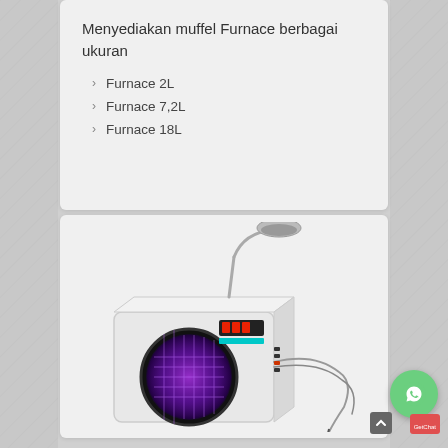Menyediakan muffel Furnace berbagai ukuran
Furnace 2L
Furnace 7,2L
Furnace 18L
[Figure (photo): Laboratory muffle furnace / heating device with a circular viewing window showing purple glow, digital display, flex-arm lamp on top, and external probes/wires connected on the right side. White casing.]